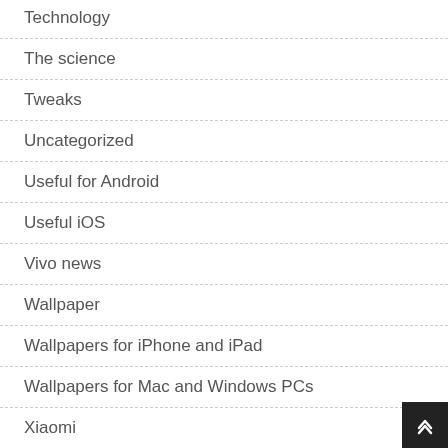Technology
The science
Tweaks
Uncategorized
Useful for Android
Useful iOS
Vivo news
Wallpaper
Wallpapers for iPhone and iPad
Wallpapers for Mac and Windows PCs
Xiaomi